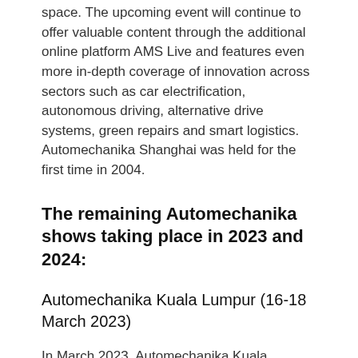space. The upcoming event will continue to offer valuable content through the additional online platform AMS Live and features even more in-depth coverage of innovation across sectors such as car electrification, autonomous driving, alternative drive systems, green repairs and smart logistics. Automechanika Shanghai was held for the first time in 2004.
The remaining Automechanika shows taking place in 2023 and 2024:
Automechanika Kuala Lumpur (16-18 March 2023)
In March 2023, Automechanika Kuala Lumpur will once again serve as the gateway to the ASEAN